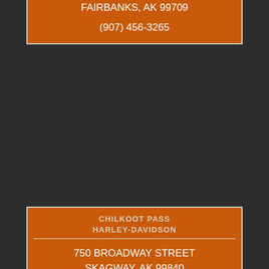HARLEY-DAVIDSON
1450 KAREN WAY
FAIRBANKS, AK 99709
(907) 456-3265
CHILKOOT PASS
HARLEY-DAVIDSON
750 BROADWAY STREET
SKAGWAY, AK 99840
(907) 983-3620
INSIDE PASSAGE
HARLEY-DAVIDSON
34 FRONT STREET #204